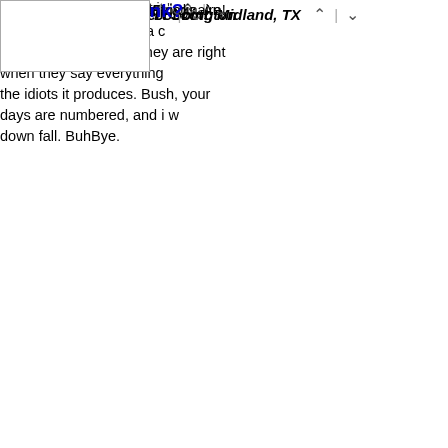supported cause against it."
★★★★★ -- Robert Scott, Midland, TX
★★★★★ -- bob, bobbington
kewl
★ -- due the, homie
amazing, a puppet with strings. An excuse of a president, a c... A pathetic individual. They are right when they say everything... the idiots it produces. Bush, your days are numbered, and i w... down fall. BuhBye. -- Olivia, Palm Beach, FL
and Bush is terrorist extraordinaire! -- Anonymous
Tweet
Rate this quote!
How many stars?
0
1
2
3
4
5
What do YOU think?